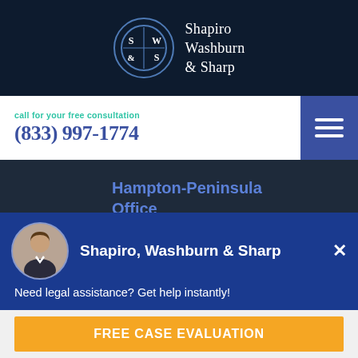[Figure (logo): Shapiro Washburn & Sharp law firm logo: circular emblem with S|W and &|S grid, next to firm name text in white serif font on dark navy background]
call for your free consultation
(833) 997-1774
[Figure (other): Hamburger menu icon (three white horizontal lines) on blue square button]
Hampton-Peninsula Office
101 Eaton Street, Suite A
Hampton, VA 23669
phone (757) 304-6565
[Figure (photo): Circular avatar photo of a man in a suit, used in chat widget]
Shapiro, Washburn & Sharp
Need legal assistance? Get help instantly!
FREE CASE EVALUATION